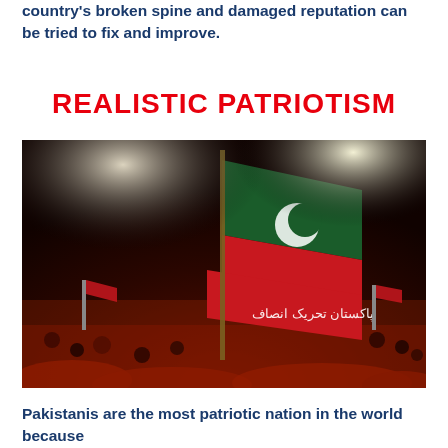country's broken spine and damaged reputation can be tried to fix and improve.
REALISTIC PATRIOTISM
[Figure (photo): A large crowd at a political rally at night, with people waving large Pakistan Tehreek-e-Insaf (PTI) flags — red and green with a crescent moon symbol and Urdu text reading 'Pakistan Tehreek-e-Insaf'. Bright stadium lights illuminate the packed crowd from behind.]
Pakistanis are the most patriotic nation in the world because